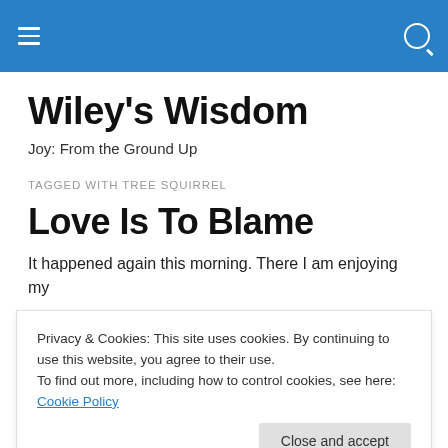Wiley's Wisdom — navigation bar with hamburger menu and search icon
Wiley's Wisdom
Joy: From the Ground Up
TAGGED WITH TREE SQUIRREL
Love Is To Blame
It happened again this morning. There I am enjoying my
Privacy & Cookies: This site uses cookies. By continuing to use this website, you agree to their use.
To find out more, including how to control cookies, see here: Cookie Policy
from sharing before, and its not going to stop me now.